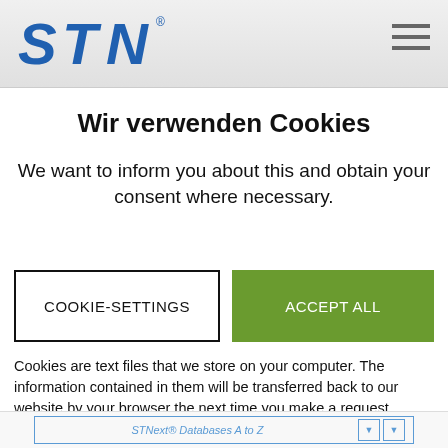[Figure (logo): STN logo in blue with registered trademark symbol, top-left of header bar]
Wir verwenden Cookies
We want to inform you about this and obtain your consent where necessary.
COOKIE-SETTINGS
ACCEPT ALL
Cookies are text files that we store on your computer. The information contained in them will be transferred back to our website by your browser the next time you make a request. Cookies thus enable us to take into account your settings and preferences without you having to register and
STNext® Databases A to Z